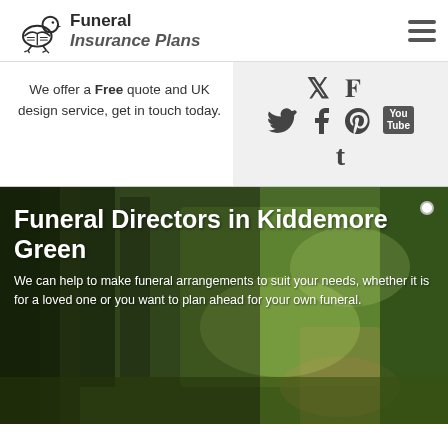[Figure (logo): Funeral Insurance Plans logo with bird icon and text]
We offer a Free quote and UK design service, get in touch today.
[Figure (infographic): Social media icons: Twitter, Facebook, Pinterest, YouTube, Tumblr]
Funeral Directors in Kiddemore Green
We can help to make funeral arrangements to suit your needs, whether it is for a loved one or you want to plan ahead for your own funeral.